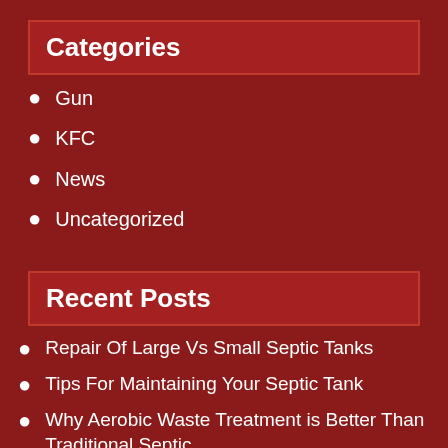Categories
Gun
KFC
News
Uncategorized
Recent Posts
Repair Of Large Vs Small Septic Tanks
Tips For Maintaining Your Septic Tank
Why Aerobic Waste Treatment is Better Than Traditional Septic
Self Filling Water Bottle Turns Air Into Drinking Water